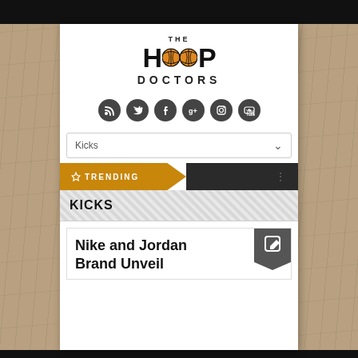[Figure (logo): The Hoop Doctors logo with basketball replacing the two O letters in HOOP]
[Figure (infographic): Row of 6 social media icons: RSS, Twitter, Facebook, Google+, Instagram, YouTube]
Kicks
★ TRENDING
KICKS
Nike and Jordan Brand Unveil